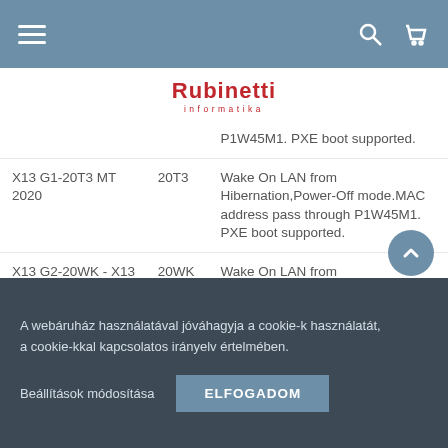Navigation bar with menu, search, and cart icons
[Figure (logo): Rubinetti informatika logo in red]
| Model | Code | Features |
| --- | --- | --- |
| X13 G1-20T3 MT 2020 | 20T3 | Wake On  LAN from Hibernation,Power-Off mode.MAC address pass through P1W45M1. PXE boot supported. |
| X13 G2-20WK - X13 Gen 2 | 20WK | Wake On  LAN from Hibernation,Power-Off mode.MAC address pass through P1W45M1. PXE boot supported. |
| X13 G2-20WL - X13 Gen 2 | 20WL | Wake On  LAN from Hibernation,Power-Off mode.M address pass through |
A webáruház használatával jóváhagyja a cookie-k használatát, a cookie-kkal kapcsolatos irányelv értelmében.
Beállítások módosítása   ELFOGADOM